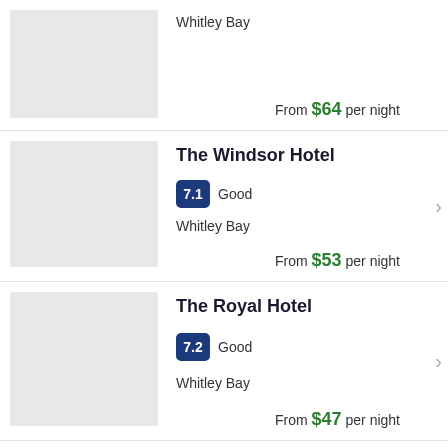Whitley Bay
From $64 per night
The Windsor Hotel
7.1 Good
Whitley Bay
From $53 per night
The Royal Hotel
7.2 Good
Whitley Bay
From $47 per night
York House Hotel
9.2 Wonderful